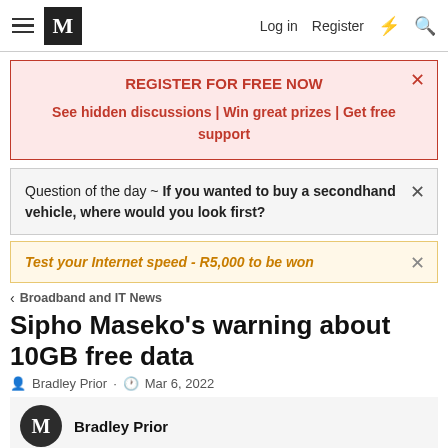M | Log in | Register
REGISTER FOR FREE NOW
See hidden discussions | Win great prizes | Get free support
Question of the day ~ If you wanted to buy a secondhand vehicle, where would you look first?
Test your Internet speed - R5,000 to be won
< Broadband and IT News
Sipho Maseko's warning about 10GB free data
Bradley Prior · Mar 6, 2022
Bradley Prior